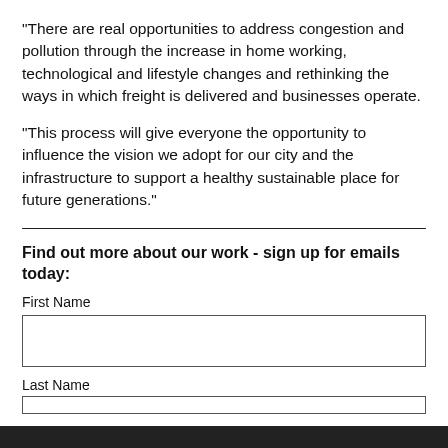“There are real opportunities to address congestion and pollution through the increase in home working, technological and lifestyle changes and rethinking the ways in which freight is delivered and businesses operate.
“This process will give everyone the opportunity to influence the vision we adopt for our city and the infrastructure to support a healthy sustainable place for future generations.”
Find out more about our work - sign up for emails today:
First Name
Last Name